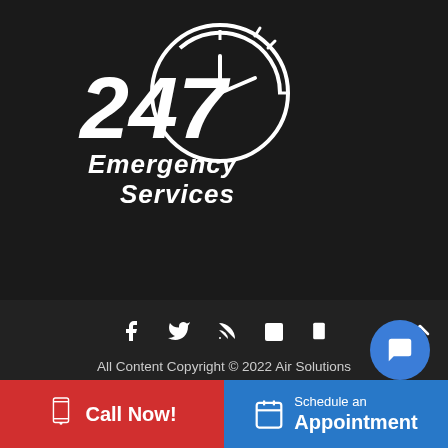[Figure (logo): 24/7 Emergency Services logo with clock graphic, white text on dark background]
[Figure (infographic): Social media icons row: Facebook, Twitter, RSS, Calendar, Mobile]
All Content Copyright © 2022 Air Solutions Heating and Cooling | Privacy Policy | Sitemap
[Figure (other): Blue circular chat bubble icon]
[Figure (other): Red Call Now button with mobile phone icon]
[Figure (other): Blue Schedule an Appointment button with calendar icon]